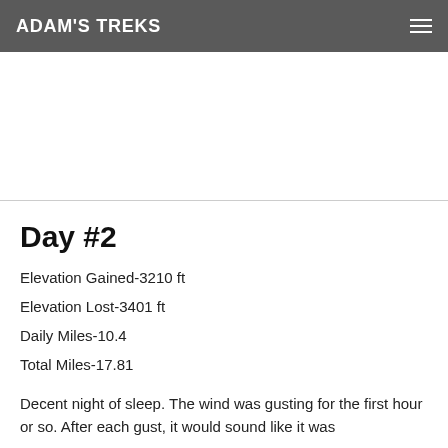ADAM'S TREKS
Day #2
Elevation Gained-3210 ft
Elevation Lost-3401 ft
Daily Miles-10.4
Total Miles-17.81
Decent night of sleep. The wind was gusting for the first hour or so. After each gust, it would sound like it was